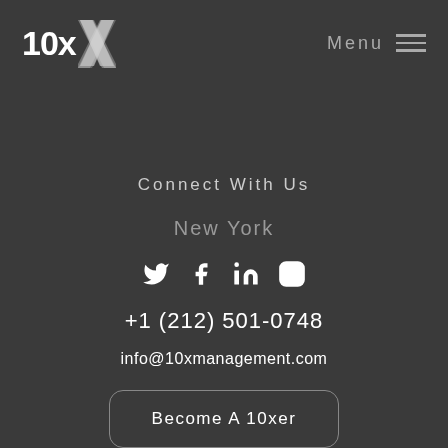[Figure (logo): 10x logo with stylized X icon in top left]
Menu
Connect With Us
New York
[Figure (illustration): Social media icons: Twitter, Facebook, LinkedIn, Instagram]
+1 (212) 501-0748
info@10xmanagement.com
Become A 10xer
San Francisco